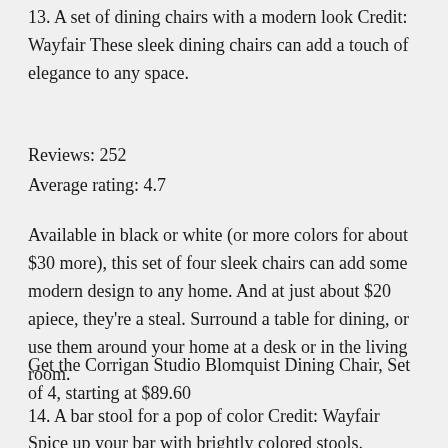13. A set of dining chairs with a modern look Credit: Wayfair These sleek dining chairs can add a touch of elegance to any space.
Reviews: 252
Average rating: 4.7
Available in black or white (or more colors for about $30 more), this set of four sleek chairs can add some modern design to any home. And at just about $20 apiece, they're a steal. Surround a table for dining, or use them around your home at a desk or in the living room.
Get the Corrigan Studio Blomquist Dining Chair, Set of 4, starting at $89.60
14. A bar stool for a pop of color Credit: Wayfair
Spice up your bar with brightly colored stools.